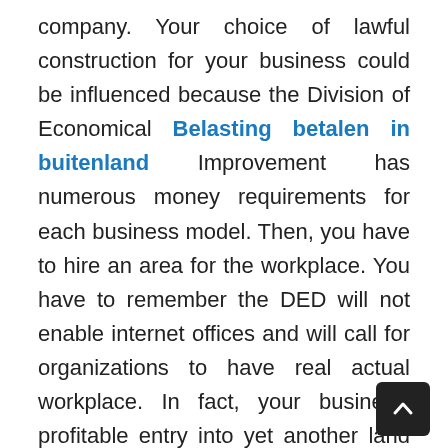company. Your choice of lawful construction for your business could be influenced because the Division of Economical Belasting betalen in buitenland Improvement has numerous money requirements for each business model. Then, you have to hire an area for the workplace. You have to remember the DED will not enable internet offices and will call for organizations to have real actual workplace. In fact, your business' profitable entry into yet another land depends upon looking for a respected and reliable companion. An extremely efficient lover could certainly help you wind earlier barriers although providing you with strategies to business creation in